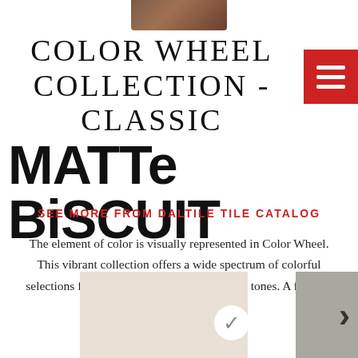[Figure (photo): Partial product/lifestyle photo visible at top center]
COLOR WHEEL COLLECTION - CLASSIC
MATTE BISCUIT
SEE MORE FROM DALTILE TILE CATALOG
The element of color is visually represented in Color Wheel. This vibrant collection offers a wide spectrum of colorful selections from bright hues to neutral, earthy tones. A favorite of artists and designers.
[Figure (illustration): Two color swatches at bottom: left is a light beige/biscuit tile swatch with a white checkmark circle, right is a gray tile swatch. Arrow pointing right on far right.]